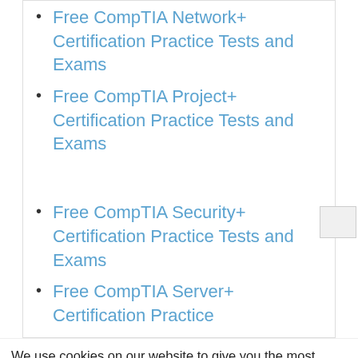Free CompTIA Network+ Certification Practice Tests and Exams
Free CompTIA Project+ Certification Practice Tests and Exams
Free CompTIA Security+ Certification Practice Tests and Exams
Free CompTIA Server+ Certification Practice
We use cookies on our website to give you the most relevant experience by remembering your preferences and repeat visits. By clicking “Accept All”, you consent to the use of ALL the cookies. However, you may visit "Cookie Settings" to provide a controlled consent.
[Figure (photo): Advertisement showing cargo airplane with colorful freight containers being loaded. Overlay text reads: WITHOUT REGARD TO POLITICS, RELIGION, OR ABILITY TO PAY]